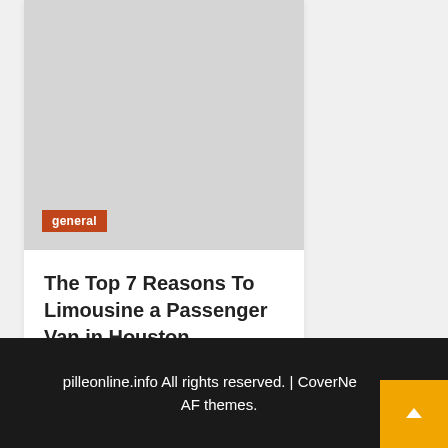[Figure (photo): Light gray placeholder image for article thumbnail with an orange 'general' badge in the lower left corner]
The Top 7 Reasons To Limousine a Passenger Van in Houston
2 weeks ago  India Estes
pilleonline.info All rights reserved. | CoverNews AF themes.